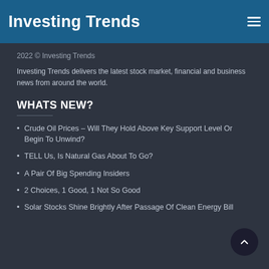Investing Trends
2022 © Investing Trends
Investing Trends delivers the latest stock market, financial and business news from around the world.
WHATS NEW?
Crude Oil Prices – Will They Hold Above Key Support Level Or Begin To Unwind?
TELL Us, Is Natural Gas About To Go?
A Pair Of Big Spending Insiders
2 Choices, 1 Good, 1 Not So Good
Solar Stocks Shine Brightly After Passage Of Clean Energy Bill